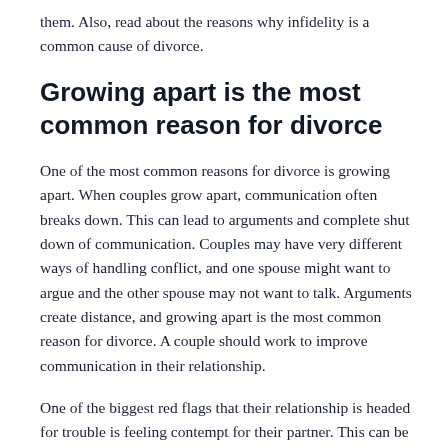them. Also, read about the reasons why infidelity is a common cause of divorce.
Growing apart is the most common reason for divorce
One of the most common reasons for divorce is growing apart. When couples grow apart, communication often breaks down. This can lead to arguments and complete shut down of communication. Couples may have very different ways of handling conflict, and one spouse might want to argue and the other spouse may not want to talk. Arguments create distance, and growing apart is the most common reason for divorce. A couple should work to improve communication in their relationship.
One of the biggest red flags that their relationship is headed for trouble is feeling contempt for their partner. This can be communicated through name-calling,